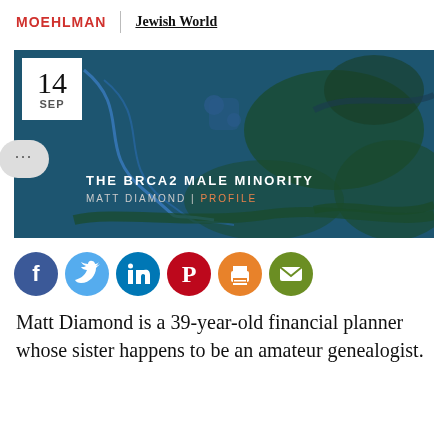MOEHLMAN | Jewish World
[Figure (illustration): Feature article banner image with teal/dark blue background showing DNA strand illustration. Date badge showing '14 SEP' in top-left corner. White speech bubble with ellipsis on left side. Text overlay reads 'THE BRCA2 MALE MINORITY' with byline 'MATT DIAMOND | PROFILE'.]
[Figure (infographic): Row of 6 social sharing icons: Facebook (blue), Twitter (light blue), LinkedIn (dark blue), Pinterest (red), Print (orange), Email (olive/green)]
Matt Diamond is a 39-year-old financial planner whose sister happens to be an amateur genealogist.